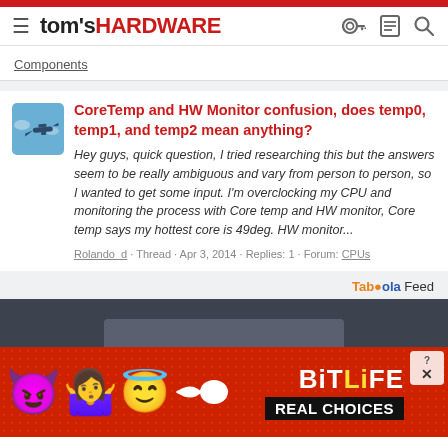tom's HARDWARE
Components
CoreTemp and HW Monitor confusion, does temp0, temp1, and temp2 mean anything?
Hey guys, quick question, I tried researching this but the answers seem to be really ambiguous and vary from person to person, so I wanted to get some input. I'm overclocking my CPU and monitoring the process with Core temp and HW monitor, Core temp says my hottest core is 49deg. HW monitor...
Rolando_d · Thread · Apr 3, 2014 · Replies: 1 · Forum: CPUs
Taboola Feed
[Figure (screenshot): BitLife game advertisement banner with emoji characters (devil, woman shrugging, angel, sperm) on red background with 'REAL CHOICES' text]